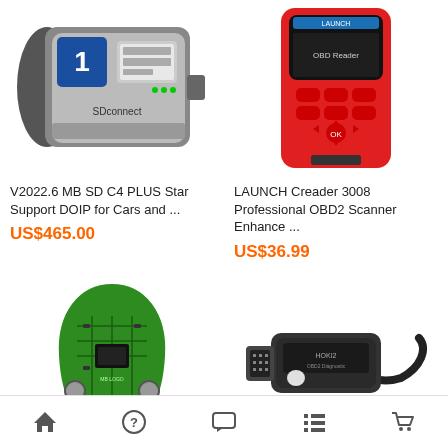[Figure (photo): MB SD C4 PLUS Star diagnostic tool device with blue number 1 display]
V2022.6 MB SD C4 PLUS Star Support DOIP for Cars and ...
US$465.00
[Figure (photo): LAUNCH Creader 3008 red and black OBD2 scanner handheld device]
LAUNCH Creader 3008 Professional OBD2 Scanner Enhance ...
US$36.99
[Figure (photo): Green circuit board car key fob transponder]
[Figure (photo): Black OBD2 diagnostic cable/connector device HOXI2]
Home | Help | Chat | List | Cart